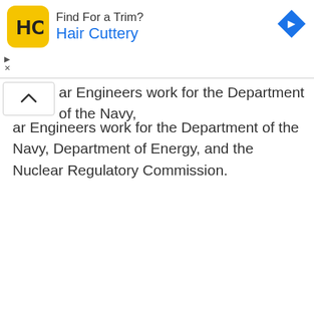[Figure (other): Hair Cuttery advertisement banner with yellow HC logo, text 'Hair Cuttery', a blue diamond arrow icon, and ad controls (play triangle and close X)]
ar Engineers work for the Department of the Navy, Department of Energy, and the Nuclear Regulatory Commission.